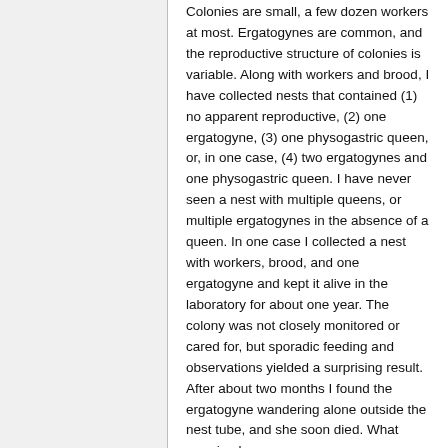Colonies are small, a few dozen workers at most. Ergatogynes are common, and the reproductive structure of colonies is variable. Along with workers and brood, I have collected nests that contained (1) no apparent reproductive, (2) one ergatogyne, (3) one physogastric queen, or, in one case, (4) two ergatogynes and one physogastric queen. I have never seen a nest with multiple queens, or multiple ergatogynes in the absence of a queen. In one case I collected a nest with workers, brood, and one ergatogyne and kept it alive in the laboratory for about one year. The colony was not closely monitored or cared for, but sporadic feeding and observations yielded a surprising result. After about two months I found the ergatogyne wandering alone outside the nest tube, and she soon died. What surprised me